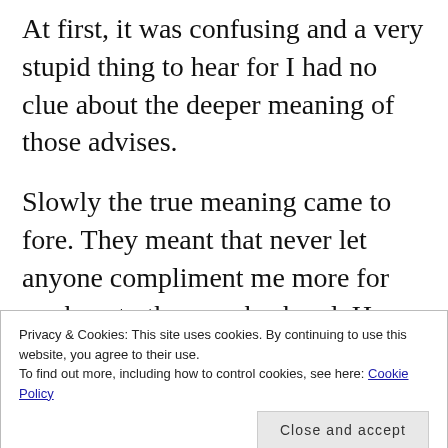At first, it was confusing and a very stupid thing to hear for I had no clue about the deeper meaning of those advises.
Slowly the true meaning came to fore. They meant that never let anyone compliment me more for my beauty than my husband. He should be the sole receiver of compliments for I had been the lucky one to be married to a fair, dashing hunk as against the norm of dark,
Privacy & Cookies: This site uses cookies. By continuing to use this website, you agree to their use.
To find out more, including how to control cookies, see here: Cookie Policy
compliments her husband gets any such